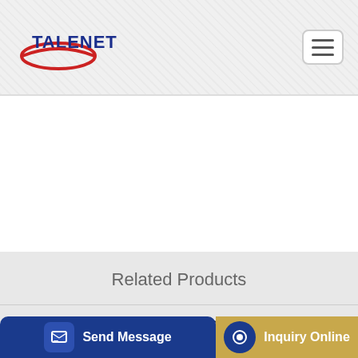[Figure (logo): TALENET company logo with red ellipse and blue text]
[Figure (other): Hamburger menu icon button (three horizontal lines)]
Related Products
Cement Silo System Solution for Clinker Mill Plant Industry
Victor Concrete Pumping Oaklands Park SA
er truck
Send Message
Inquiry Online